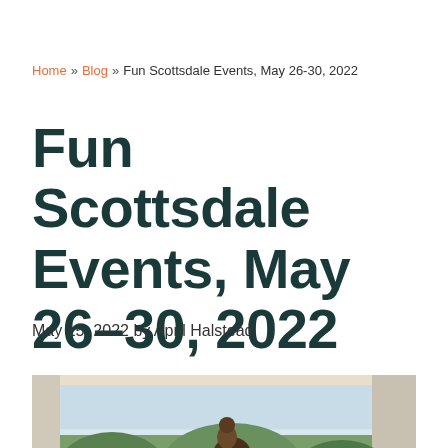Home » Blog » Fun Scottsdale Events, May 26-30, 2022
Fun Scottsdale Events, May 26-30, 2022
May 15, 2022 by April Halstead
[Figure (photo): Bronze sculpture of primates/gorillas displayed under a covered outdoor pavilion with trees in the background]